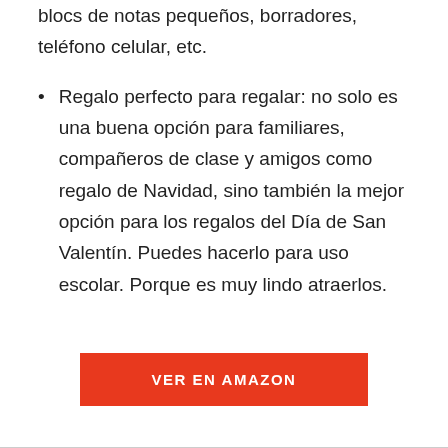blocs de notas pequeños, borradores, teléfono celular, etc.
Regalo perfecto para regalar: no solo es una buena opción para familiares, compañeros de clase y amigos como regalo de Navidad, sino también la mejor opción para los regalos del Día de San Valentín. Puedes hacerlo para uso escolar. Porque es muy lindo atraerlos.
VER EN AMAZON